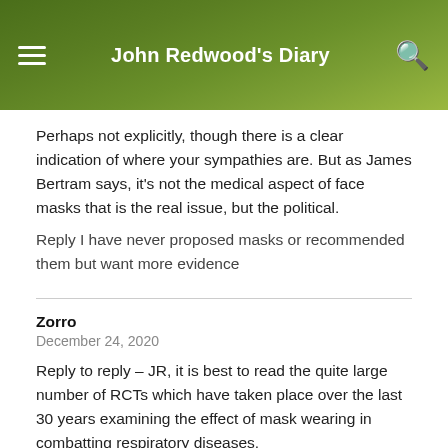John Redwood's Diary
Perhaps not explicitly, though there is a clear indication of where your sympathies are. But as James Bertram says, it's not the medical aspect of face masks that is the real issue, but the political.
Reply I have never proposed masks or recommended them but want more evidence
Zorro
December 24, 2020
Reply to reply – JR, it is best to read the quite large number of RCTs which have taken place over the last 30 years examining the effect of mask wearing in combatting respiratory diseases.